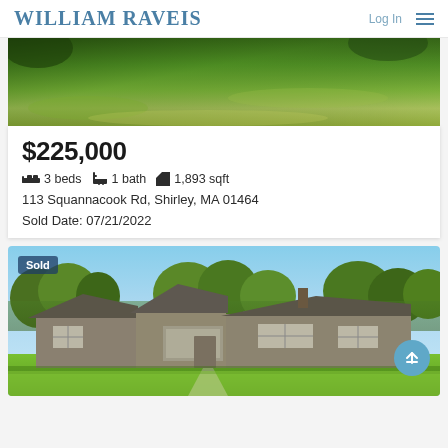WILLIAM RAVEIS
[Figure (photo): Lawn and grass area with trees in background, property exterior]
$225,000
3 beds  1 bath  1,893 sqft
113 Squannacook Rd, Shirley, MA 01464
Sold Date: 07/21/2022
[Figure (photo): Sold ranch-style house with gray siding, porch, walkway through green lawn, trees in background]